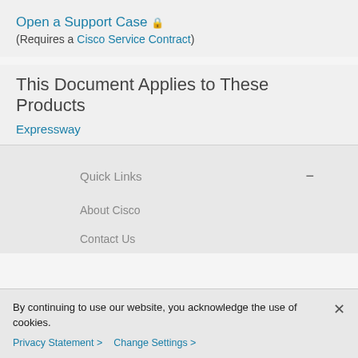Open a Support Case 🔒
(Requires a Cisco Service Contract)
This Document Applies to These Products
Expressway
Quick Links
About Cisco
Contact Us
By continuing to use our website, you acknowledge the use of cookies.
Privacy Statement > Change Settings >